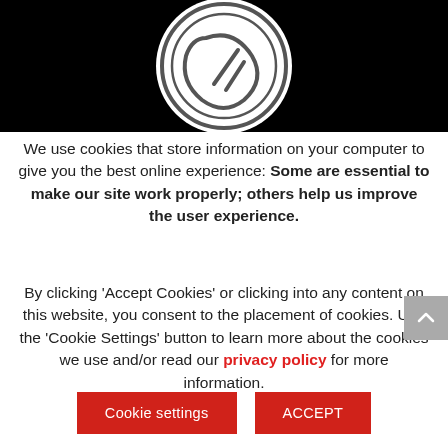[Figure (logo): Cookie/biscuit icon inside a double circle on a black background]
We use cookies that store information on your computer to give you the best online experience: Some are essential to make our site work properly; others help us improve the user experience.
By clicking 'Accept Cookies' or clicking into any content on this website, you consent to the placement of cookies. Use the 'Cookie Settings' button to learn more about the cookies we use and/or read our privacy policy for more information.
Cookie settings | ACCEPT